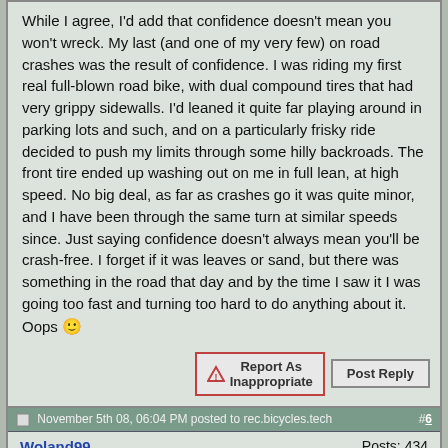While I agree, I'd add that confidence doesn't mean you won't wreck. My last (and one of my very few) on road crashes was the result of confidence. I was riding my first real full-blown road bike, with dual compound tires that had very grippy sidewalls. I'd leaned it quite far playing around in parking lots and such, and on a particularly frisky ride decided to push my limits through some hilly backroads. The front tire ended up washing out on me in full lean, at high speed. No big deal, as far as crashes go it was quite minor, and I have been through the same turn at similar speeds since. Just saying confidence doesn't always mean you'll be crash-free. I forget if it was leaves or sand, but there was something in the road that day and by the time I saw it I was going too fast and turning too hard to do anything about it. Oops 🙂
Report As Inappropriate | Post Reply
November 5th 08, 06:04 PM posted to rec.bicycles.tech #6
Woland99 - Posts: 434 - external usenet poster
my ride today
On Nov 4, 6:31 pm, Mark Cleary wrote:
I guess I could have easily read 50